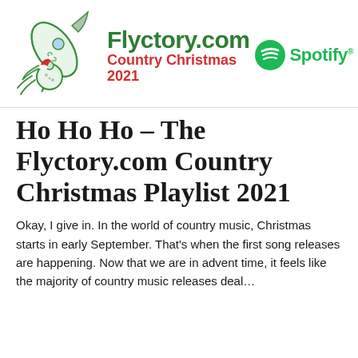[Figure (logo): Flyctory.com Country Christmas 2021 header image with illustrated rocket/ornament graphic, site name in bold green, subtitle in bold red, and Spotify logo with green icon]
Ho Ho Ho – The Flyctory.com Country Christmas Playlist 2021
Okay, I give in. In the world of country music, Christmas starts in early September. That's when the first song releases are happening. Now that we are in advent time, it feels like the majority of country music releases deal…